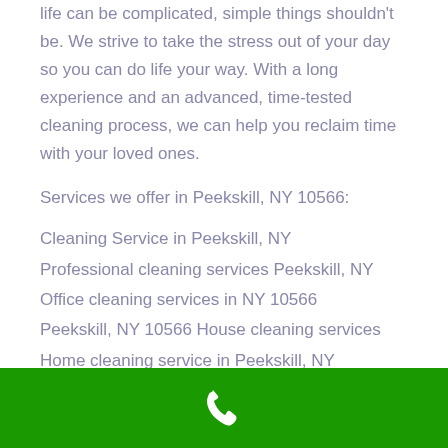life can be complicated, simple things shouldn't be. We strive to take the stress out of your day so you can do life your way. With a long experience and an advanced, time-tested cleaning process, we can help you reclaim time with your loved ones.
Services we offer in Peekskill, NY 10566:
Cleaning Service in Peekskill, NY
Professional cleaning services Peekskill, NY
Office cleaning services in NY 10566
Peekskill, NY 10566 House cleaning services
Home cleaning service in Peekskill, NY
Local Emergency Siding cleaning service in
[phone icon]